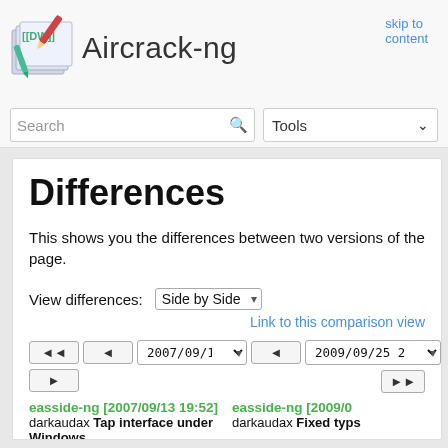skip to content
Aircrack-ng
Search
Tools
Differences
This shows you the differences between two versions of the page.
View differences: Side by Side
Link to this comparison view
◄◄  ◄  2007/09/13 19:  ►  ◄  2009/09/25 2  ►►
easside-ng [2007/09/13 19:52]   easside-ng [2009/0
darkaudax Tap interface under Windows   darkaudax Fixed typs